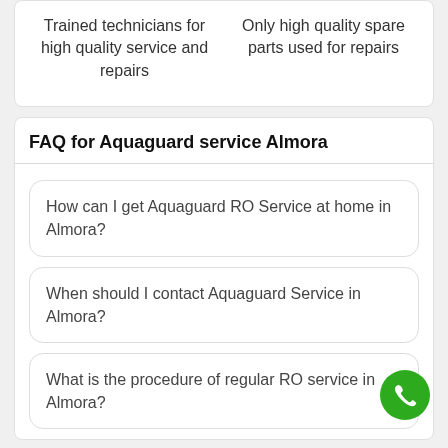Trained technicians for high quality service and repairs
Only high quality spare parts used for repairs
FAQ for Aquaguard service Almora
How can I get Aquaguard RO Service at home in Almora?
When should I contact Aquaguard Service in Almora?
What is the procedure of regular RO service in Almora?